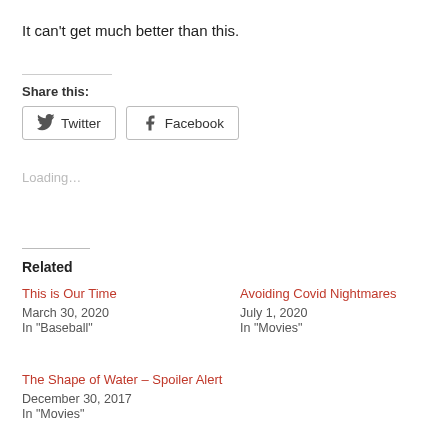It can’t get much better than this.
Share this:
[Figure (other): Twitter and Facebook share buttons]
Loading…
Related
This is Our Time
March 30, 2020
In "Baseball"
Avoiding Covid Nightmares
July 1, 2020
In "Movies"
The Shape of Water – Spoiler Alert
December 30, 2017
In "Movies"